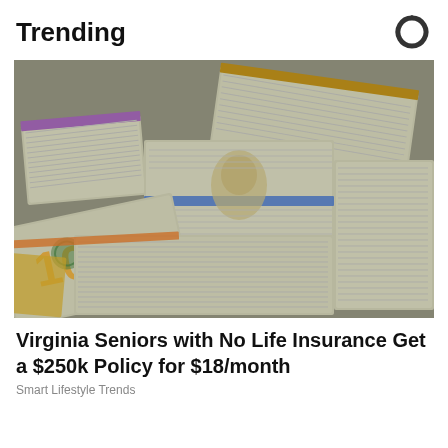Trending
[Figure (photo): Large stacks of US $100 dollar bills bundled with rubber bands and straps, piled on a surface, filling the frame with currency.]
Virginia Seniors with No Life Insurance Get a $250k Policy for $18/month
Smart Lifestyle Trends